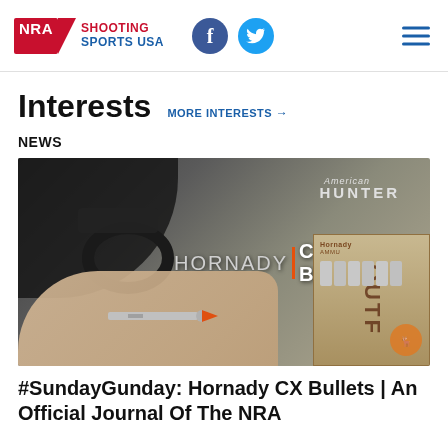NRA Shooting Sports USA | Facebook | Twitter
Interests  MORE INTERESTS →
NEWS
[Figure (photo): Close-up photo of a rifle with Hornady CX Bullets text overlay, showing a hand loading a bullet into a magazine, and a box of Hornady Outfitter ammunition. American Hunter logo visible in upper right.]
#SundayGunday: Hornady CX Bullets | An Official Journal Of The NRA